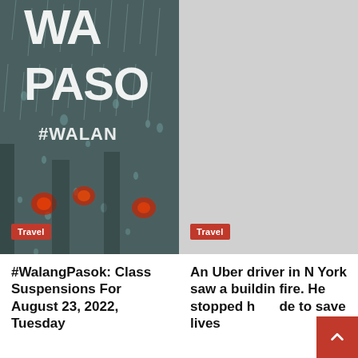[Figure (photo): Rainy car window photo with blurred red car lights and white large text 'WA... PASO' and '#WALAN...' overlaid]
Travel
[Figure (photo): Light gray placeholder image for a second article]
Travel
#WalangPasok: Class Suspensions For August 23, 2022, Tuesday
An Uber driver in New York saw a building fire. He stopped his ride to save lives